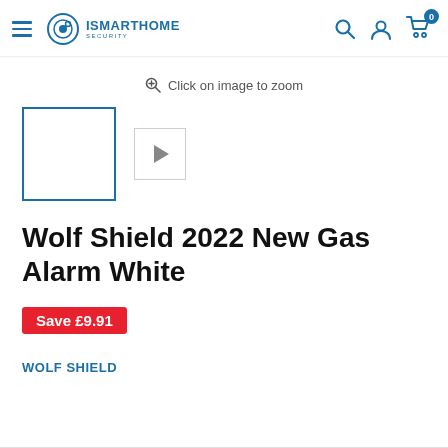[Figure (logo): iSmartHome Security logo with circular icon and hamburger menu, plus search, account, and cart icons in header]
Click on image to zoom
[Figure (other): Blue-bordered thumbnail box (product image placeholder) and a video thumbnail with play button]
Wolf Shield 2022 New Gas Alarm White
Save £9.91
WOLF SHIELD